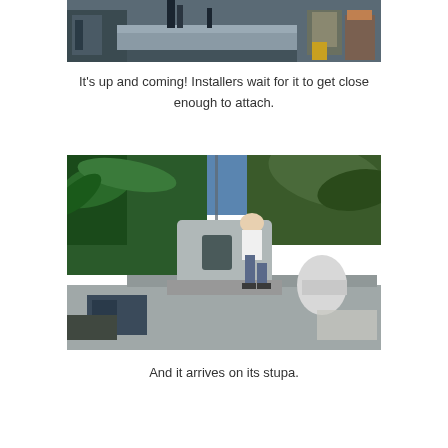[Figure (photo): Construction scene showing what appears to be a platform or structure being lifted, with equipment and supplies visible]
It's up and coming! Installers wait for it to get close enough to attach.
[Figure (photo): Outdoor construction scene with a person bending over a large grey/white sculptural form on a concrete platform, with palm trees in the background]
And it arrives on its stupa.